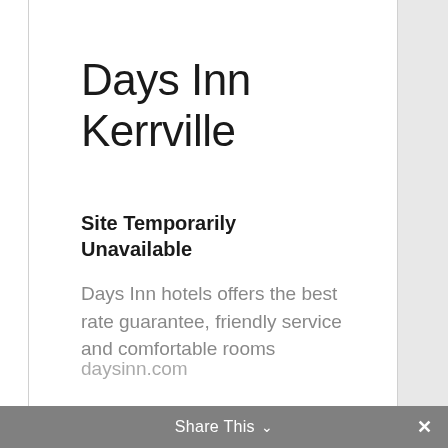Days Inn Kerrville
Site Temporarily Unavailable
Days Inn hotels offers the best rate guarantee, friendly service and comfortable rooms
daysinn.com
Share This ∨   ✕